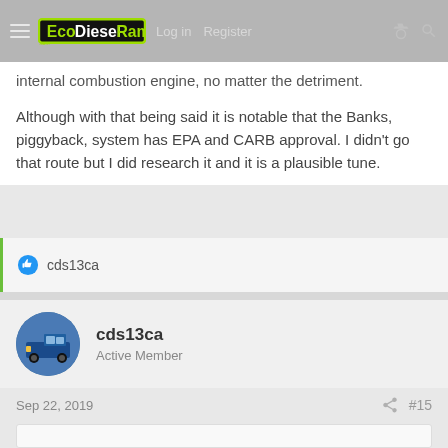EcoDieselRam.com  Log in  Register
internal combustion engine, no matter the detriment.
Although with that being said it is notable that the Banks, piggyback, system has EPA and CARB approval. I didn't go that route but I did research it and it is a plausible tune.
cds13ca
cds13ca
Active Member
Sep 22, 2019   #15